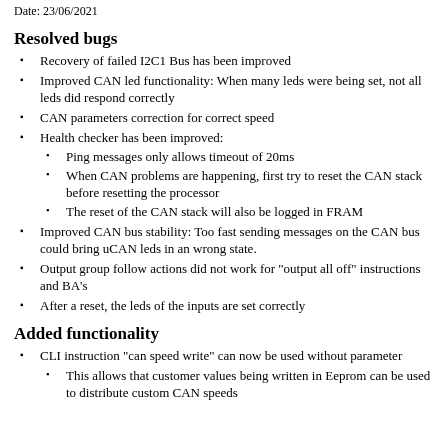Date: 23/06/2021
Resolved bugs
Recovery of failed I2C1 Bus has been improved
Improved CAN led functionality: When many leds were being set, not all leds did respond correctly
CAN parameters correction for correct speed
Health checker has been improved:
Ping messages only allows timeout of 20ms
When CAN problems are happening, first try to reset the CAN stack before resetting the processor
The reset of the CAN stack will also be logged in FRAM
Improved CAN bus stability: Too fast sending messages on the CAN bus could bring uCAN leds in an wrong state.
Output group follow actions did not work for "output all off" instructions and BA's
After a reset, the leds of the inputs are set correctly
Added functionality
CLI instruction "can speed write" can now be used without parameter
This allows that customer values being written in Eeprom can be used to distribute custom CAN speeds